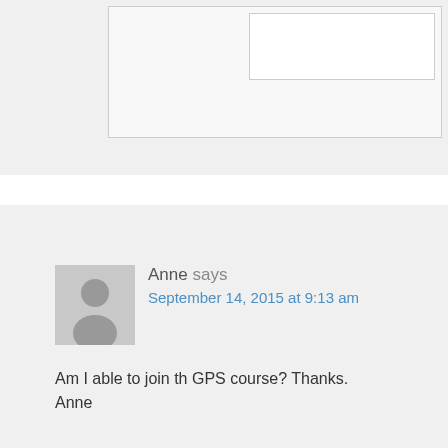[Figure (screenshot): Top portion of a comment section showing a nested comment form with input boxes, partially visible at top of page]
Anne says
September 14, 2015 at 9:13 am
Am I able to join th GPS course? Thanks. Anne
Reply
[Figure (screenshot): Bottom nested comment block partially visible]